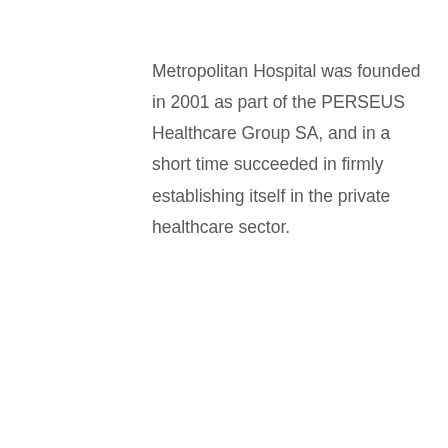Metropolitan Hospital was founded in 2001 as part of the PERSEUS Healthcare Group SA, and in a short time succeeded in firmly establishing itself in the private healthcare sector.
The vision of its founders aimed to make Metropolitan Hospital a model health
We use cookies on our website to give you the most relevant experience by remembering your preferences and repeat visits. By clicking “Accept All”, you consent to the use of ALL the cookies. However, you may visit “Cookie Settings” to provide a controlled consent.